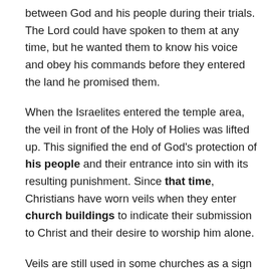between God and his people during their trials. The Lord could have spoken to them at any time, but he wanted them to know his voice and obey his commands before they entered the land he promised them.
When the Israelites entered the temple area, the veil in front of the Holy of Holies was lifted up. This signified the end of God's protection of his people and their entrance into sin with its resulting punishment. Since that time, Christians have worn veils when they enter church buildings to indicate their submission to Christ and their desire to worship him alone.
Veils are still used in some churches as a sign of